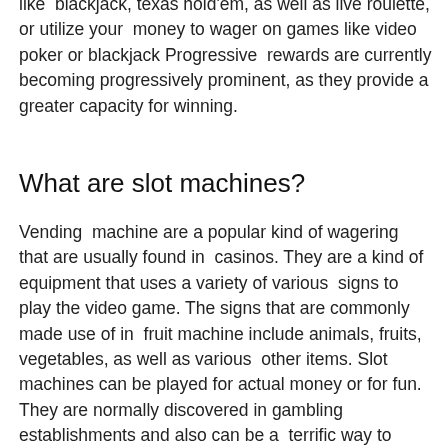like  blackjack, texas hold'em, as well as live roulette, or utilize your  money to wager on games like video poker or blackjack Progressive  rewards are currently becoming progressively prominent, as they provide a greater capacity for winning.
What are slot machines?
Vending  machine are a popular kind of wagering that are usually found in  casinos. They are a kind of equipment that uses a variety of various  signs to play the video game. The signs that are commonly made use of in  fruit machine include animals, fruits, vegetables, as well as various  other items. Slot machines can be played for actual money or for fun.  They are normally discovered in gambling establishments and also can be a  terrific way to spend a mid-day or night.